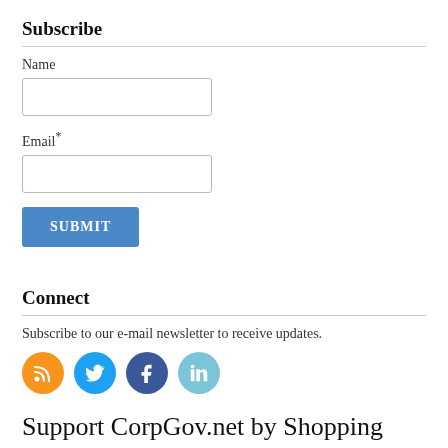Subscribe
Name
Email*
SUBMIT
Connect
Subscribe to our e-mail newsletter to receive updates.
[Figure (illustration): Four social media icon circles: RSS (orange), Twitter (blue), Facebook (dark blue), LinkedIn (light blue)]
Support CorpGov.net by Shopping
Shop books on Corporate Governance, Buy what I buy or at least see my